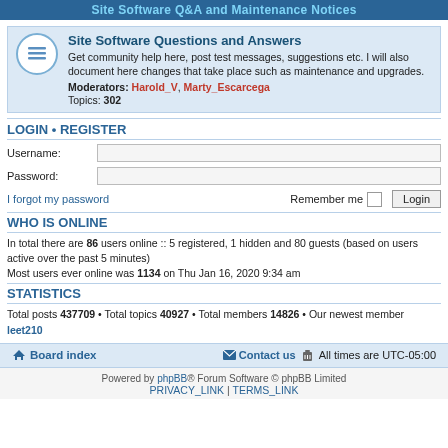Site Software Q&A and Maintenance Notices
Site Software Questions and Answers
Get community help here, post test messages, suggestions etc. I will also document here changes that take place such as maintenance and upgrades.
Moderators: Harold_V, Marty_Escarcega
Topics: 302
LOGIN • REGISTER
Username:
Password:
I forgot my password    Remember me  Login
WHO IS ONLINE
In total there are 86 users online :: 5 registered, 1 hidden and 80 guests (based on users active over the past 5 minutes)
Most users ever online was 1134 on Thu Jan 16, 2020 9:34 am
STATISTICS
Total posts 437709 • Total topics 40927 • Total members 14826 • Our newest member leet210
Board index   Contact us   All times are UTC-05:00
Powered by phpBB® Forum Software © phpBB Limited
PRIVACY_LINK | TERMS_LINK